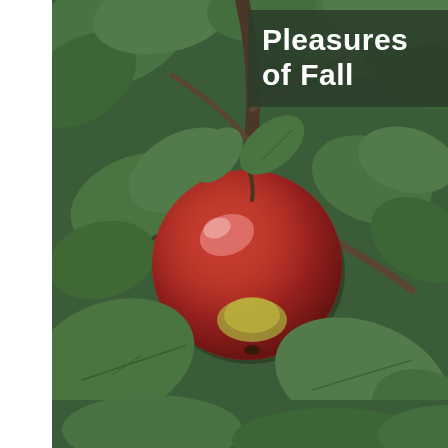[Figure (photo): A large red apple on a tree branch, surrounded by green leaves. The apple is ripe, predominantly red with some green and yellow tones near its base. Branches and additional leaves are visible in the background.]
Pleasures of Fall